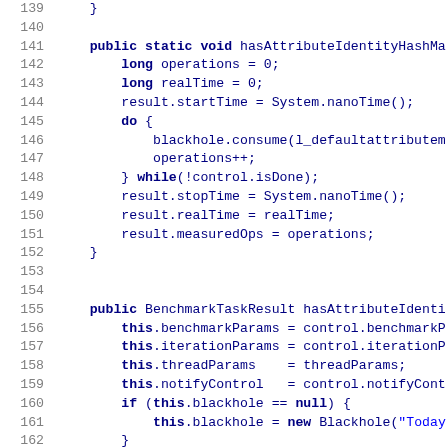Source code lines 139-166, Java benchmark code
139     }
140     (blank)
141     public static void hasAttributeIdentityHashMa
142         long operations = 0;
143         long realTime = 0;
144         result.startTime = System.nanoTime();
145         do {
146             blackhole.consume(l_defaultattributem
147             operations++;
148         } while(!control.isDone);
149         result.stopTime = System.nanoTime();
150         result.realTime = realTime;
151         result.measuredOps = operations;
152     }
153     (blank)
154     (blank)
155     public BenchmarkTaskResult hasAttributeIdenti
156         this.benchmarkParams = control.benchmarkP
157         this.iterationParams = control.iterationP
158         this.threadParams    = threadParams;
159         this.notifyControl   = control.notifyCont
160         if (this.blackhole == null) {
161             this.blackhole = new Blackhole("Today
162         }
163         if (threadParams.getSubgroupIndex() == 0)
164             RawResults res = new RawResults();
165             DefaultAttributeMapBenchmark_jmhType
166             DefaultAttributeMapBenchmark_KeySeque